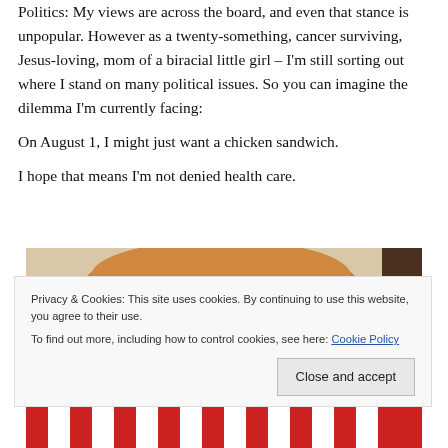Politics: My views are across the board, and even that stance is unpopular. However as a twenty-something, cancer surviving, Jesus-loving, mom of a biracial little girl – I'm still sorting out where I stand on many political issues. So you can imagine the dilemma I'm currently facing:
On August 1, I might just want a chicken sandwich.
I hope that means I'm not denied health care.
[Figure (photo): Photo of a chicken sandwich, partially obscured by a cookie consent banner. Top portion shows a bun and filling, bottom portion shows a red and white wrapper/packaging.]
Privacy & Cookies: This site uses cookies. By continuing to use this website, you agree to their use. To find out more, including how to control cookies, see here: Cookie Policy